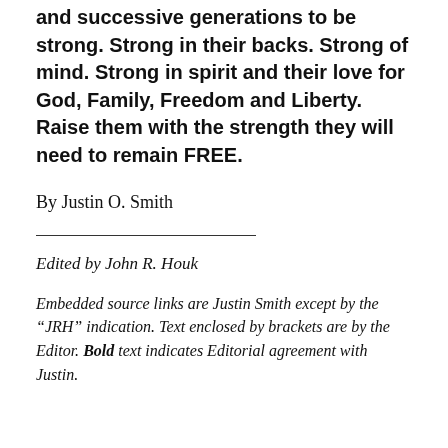and successive generations to be strong. Strong in their backs. Strong of mind. Strong in spirit and their love for God, Family, Freedom and Liberty. Raise them with the strength they will need to remain FREE.
By Justin O. Smith
Edited by John R. Houk
Embedded source links are Justin Smith except by the “JRH” indication. Text enclosed by brackets are by the Editor. Bold text indicates Editorial agreement with Justin.